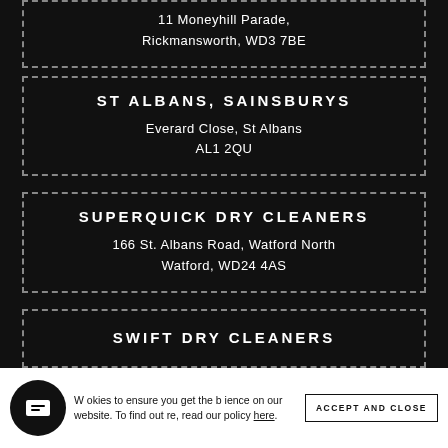11 Moneyhill Parade, Rickmansworth, WD3 7BE
ST ALBANS, SAINSBURYS
Everard Close, St Albans
AL1 2QU
SUPERQUICK DRY CLEANERS
166 St. Albans Road, Watford North
Watford, WD24 4AS
SWIFT DRY CLEANERS
We use cookies to ensure you get the best experience on our website. To find out more, read our policy here.
ACCEPT AND CLOSE